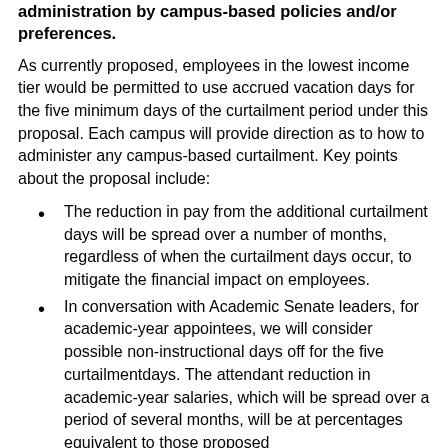administration by campus-based policies and/or preferences.
As currently proposed, employees in the lowest income tier would be permitted to use accrued vacation days for the five minimum days of the curtailment period under this proposal. Each campus will provide direction as to how to administer any campus-based curtailment. Key points about the proposal include:
The reduction in pay from the additional curtailment days will be spread over a number of months, regardless of when the curtailment days occur, to mitigate the financial impact on employees.
In conversation with Academic Senate leaders, for academic-year appointees, we will consider possible non-instructional days off for the five curtailmentdays. The attendant reduction in academic-year salaries, which will be spread over a period of several months, will be at percentages equivalent to those proposed for other employees within the same salary bands.